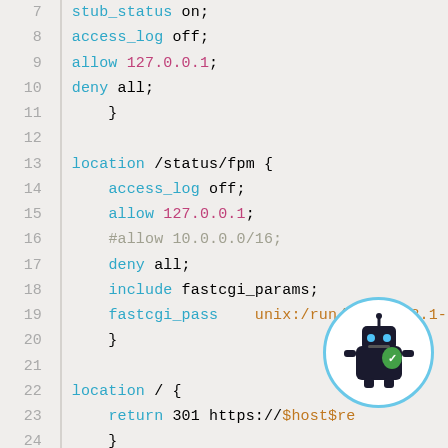Code snippet showing nginx configuration lines 7-26 with syntax highlighting
[Figure (logo): Circular logo with light blue border showing a robot/android mascot with green and dark body on white background]